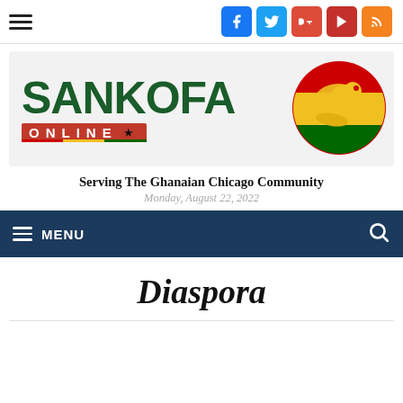Sankofa Online - Navigation and social icons bar
[Figure (logo): Sankofa Online logo with large green SANKOFA text, red ONLINE banner with Ghana flag colors, and a bird illustration in a red/gold/green circle on the right]
Serving The Ghanaian Chicago Community
Monday, August 22, 2022
MENU
Diaspora